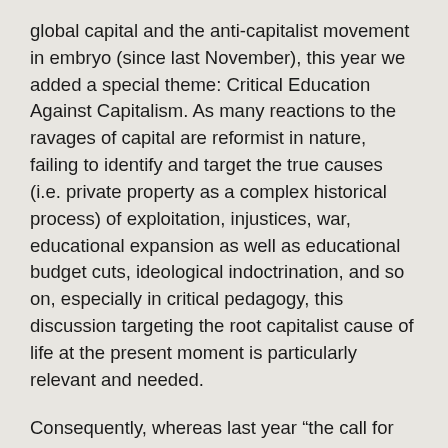global capital and the anti-capitalist movement in embryo (since last November), this year we added a special theme: Critical Education Against Capitalism. As many reactions to the ravages of capital are reformist in nature, failing to identify and target the true causes (i.e. private property as a complex historical process) of exploitation, injustices, war, educational expansion as well as educational budget cuts, ideological indoctrination, and so on, especially in critical pedagogy, this discussion targeting the root capitalist cause of life at the present moment is particularly relevant and needed.
Consequently, whereas last year “the call for proposals” was “general enough to be inclusive of many critical approaches to transformative or revolutionary pedagogies and theory,” this year we